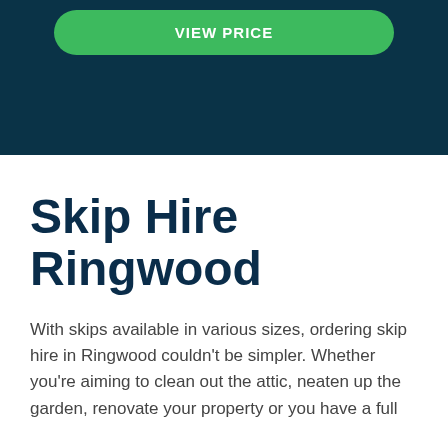[Figure (other): Dark navy hero banner section with a green rounded button labeled 'VIEW PRICE' in white uppercase text]
Skip Hire Ringwood
With skips available in various sizes, ordering skip hire in Ringwood couldn't be simpler. Whether you're aiming to clean out the attic, neaten up the garden, renovate your property or you have a full